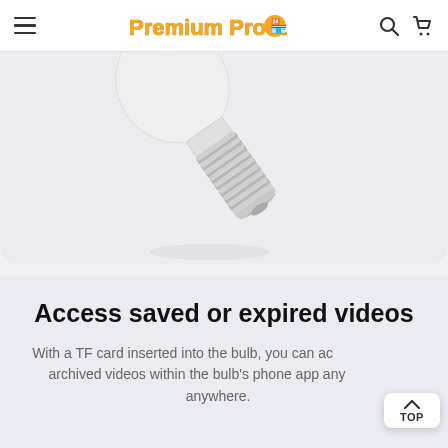Premium Products [logo]
[Figure (photo): Close-up photo of a light bulb screw base (E27 socket) on a light grey background, tilted at an angle]
Access saved or expired videos
With a TF card inserted into the bulb, you can access archived videos within the bulb's phone app anywhere.